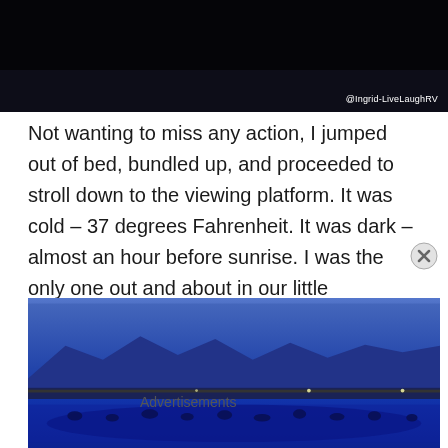[Figure (photo): Dark nighttime photo with black/dark blue gradient background and watermark '@Ingrid-LiveLaughRV' in bottom right corner]
Not wanting to miss any action, I jumped out of bed, bundled up, and proceeded to stroll down to the viewing platform.  It was cold – 37 degrees Fahrenheit.  It was dark – almost an hour before sunrise. I was the only one out and about in our little neighborhood of about nine RV's.
[Figure (photo): Pre-dawn blue-tinted photograph of a large flock of birds gathered near a body of water with mountains in the background, taken in near-darkness]
Advertisements